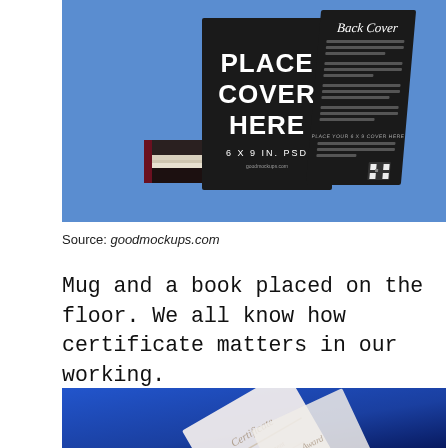[Figure (photo): Book mockup photo showing black books with 'PLACE COVER HERE 6 X 9 IN. PSD' text on front cover and 'Back Cover' on back, stacked on blue background]
Source: goodmockups.com
Mug and a book placed on the floor. We all know how certificate matters in our working.
[Figure (photo): Partial photo of a certificate or document on a blue gradient background]